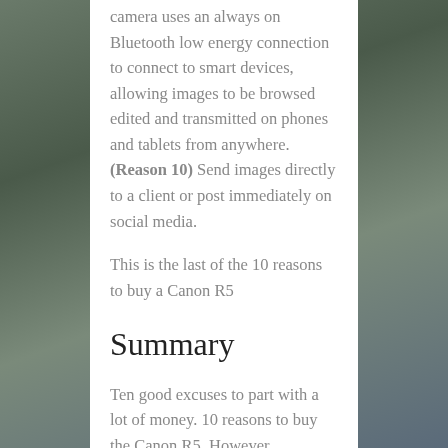camera uses an always on Bluetooth low energy connection to connect to smart devices, allowing images to be browsed edited and transmitted on phones and tablets from anywhere. (Reason 10) Send images directly to a client or post immediately on social media.
This is the last of the 10 reasons to buy a Canon R5
Summary
Ten good excuses to part with a lot of money. 10 reasons to buy the Canon R5. However remember a new camera is not going to make you a better photographer, but the R5 may just give you the edge